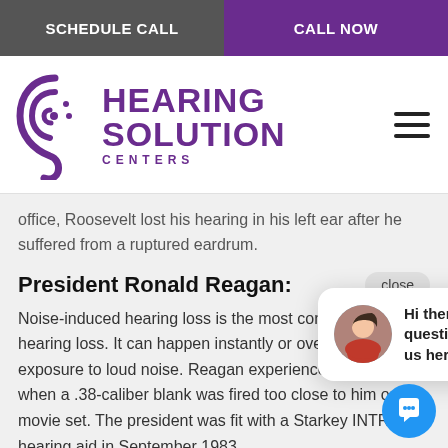SCHEDULE CALL | CALL NOW
[Figure (logo): Hearing Solution Centers logo with ear icon and purple text]
office, Roosevelt lost his hearing in his left ear after he suffered from a ruptured eardrum.
President Ronald Reagan:
Noise-induced [hearing loss is the most] common kind [of hearing loss. It can happen] instantly or ov[er time with exposure to] loud noise. Re[agan experienced hearing loss] when a .38-caliber blank was fired too close to him on a movie set. The president was fit with a Starkey INTRA hearing aid in September 1983.
[Figure (screenshot): Chat popup with avatar photo and text: Hi there, have a question? Text us here.]
According to AudiologyOnline.com, the icon helped